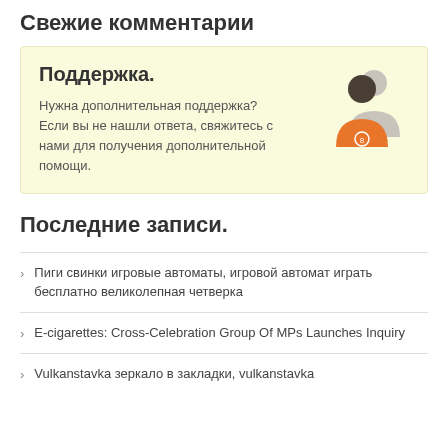Свежие комментарии
[Figure (infographic): Support box with icon showing two person silhouettes (grey and orange) and bold title 'Поддержка.' with support text in Russian]
Последние записи.
Пиги свинки игровые автоматы, игровой автомат играть бесплатно великолепная четверка
E-cigarettes: Cross-Celebration Group Of MPs Launches Inquiry
Vulkanstavka зеркало в закладки, vulkanstavka